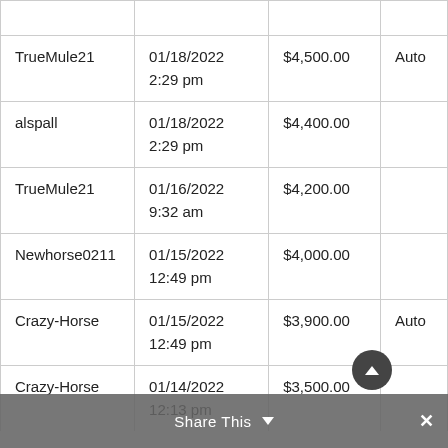| Username | Date/Time | Amount | Type |
| --- | --- | --- | --- |
| TrueMule21 | 01/18/2022 2:29 pm | $4,500.00 | Auto |
| alspall | 01/18/2022 2:29 pm | $4,400.00 |  |
| TrueMule21 | 01/16/2022 9:32 am | $4,200.00 |  |
| Newhorse0211 | 01/15/2022 12:49 pm | $4,000.00 |  |
| Crazy-Horse | 01/15/2022 12:49 pm | $3,900.00 | Auto |
| Crazy-Horse | 01/14/2022 12:13 pm | $3,500.00 |  |